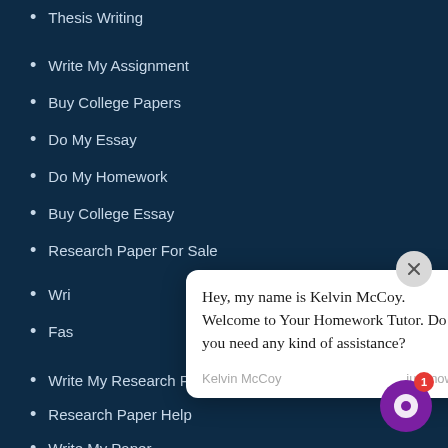Thesis Writing
Write My Assignment
Buy College Papers
Do My Essay
Do My Homework
Buy College Essay
Research Paper For Sale
Write My Research Paper
Research Paper Help
Write My Paper
[Figure (screenshot): Chat popup from Kelvin McCoy saying 'Hey, my name is Kelvin McCoy. Welcome to Your Homework Tutor. Do you need any kind of assistance?' with timestamp 'just now' and a close button. A chat bubble icon with notification badge '1' is visible at bottom right.]